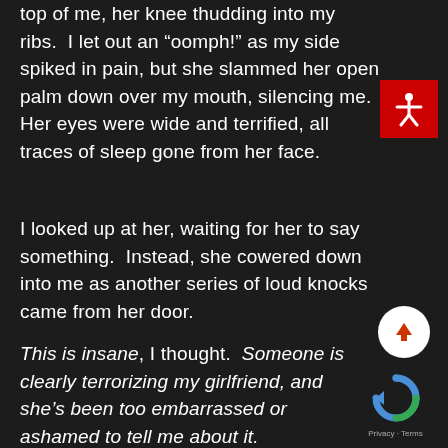top of me, her knee thudding into my ribs.  I let out an “oomph!” as my side spiked in pain, but she slammed her open palm down over my mouth, silencing me.  Her eyes were wide and terrified, all traces of sleep gone from her face.
I looked up at her, waiting for her to say something.  Instead, she cowered down into me as another series of loud knocks came from her door.
This is insane, I thought.  Someone is clearly terrorizing my girlfriend, and she’s been too embarrassed or ashamed to tell me about it.